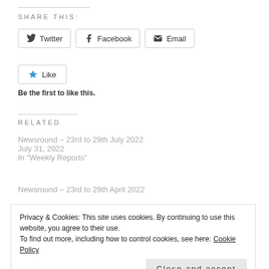SHARE THIS:
[Figure (other): Social share buttons: Twitter, Facebook, Email]
[Figure (other): Like button with star icon]
Be the first to like this.
RELATED
Newsround – 23rd to 29th July 2022
July 31, 2022
In "Weekly Reports"
Newsround – 23rd to 29th April 2022
Privacy & Cookies: This site uses cookies. By continuing to use this website, you agree to their use.
To find out more, including how to control cookies, see here: Cookie Policy
Close and accept